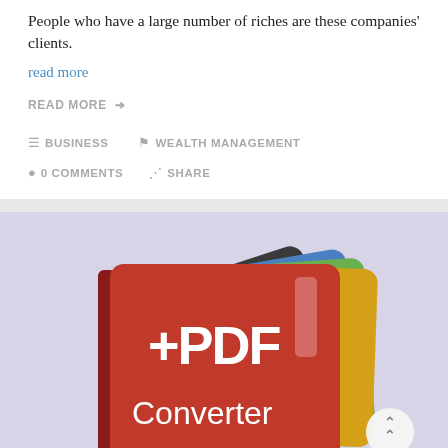People who have a large number of riches are these companies' clients.
read more
READ MORE →
BUSINESS   WEALTH MANAGEMENT
0 COMMENTS   SHARE
[Figure (illustration): An illustration of a +PDF Converter app icon — a red book-like icon with the text '+PDF Converter' in white, fanned out with other colorful card-like icons behind it, on a lavender/purple background. A scroll-to-top button (chevron up) appears in the bottom right.]